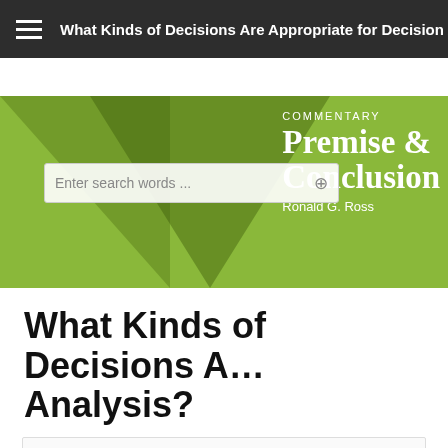What Kinds of Decisions Are Appropriate for Decision Analysis?
[Figure (illustration): Hero banner with green background, dark triangular overlays, a search box reading 'Enter search words ...', and a commentary block with text 'COMMENTARY Premise & Conclusion Ronald G. Ross']
What Kinds of Decisions Are Appropriate for Decision Analysis?
Summary: Buzzwords that seem to cover everything may soon cover nothing. 'Decision management' is how easily everything potentially becomes a decision. Engineers of true business solutions should hate it. What is the appropriate role analysts have? What's useful and what's not? In this month's col...